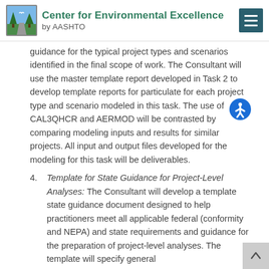Center for Environmental Excellence by AASHTO
guidance for the typical project types and scenarios identified in the final scope of work. The Consultant will use the master template report developed in Task 2 to develop template reports for particulate for each project type and scenario modeled in this task. The use of CAL3QHCR and AERMOD will be contrasted by comparing modeling inputs and results for similar projects. All input and output files developed for the modeling for this task will be deliverables.
4. Template for State Guidance for Project-Level Analyses: The Consultant will develop a template state guidance document designed to help practitioners meet all applicable federal (conformity and NEPA) and state requirements and guidance for the preparation of project-level analyses. The template will specify general